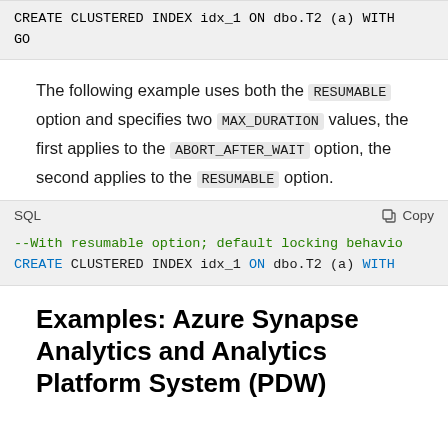CREATE CLUSTERED INDEX idx_1 ON dbo.T2 (a) WITH
GO
The following example uses both the RESUMABLE option and specifies two MAX_DURATION values, the first applies to the ABORT_AFTER_WAIT option, the second applies to the RESUMABLE option.
SQL
--With resumable option; default locking behavio
CREATE CLUSTERED INDEX idx_1 ON dbo.T2 (a) WITH
Examples: Azure Synapse Analytics and Analytics Platform System (PDW)